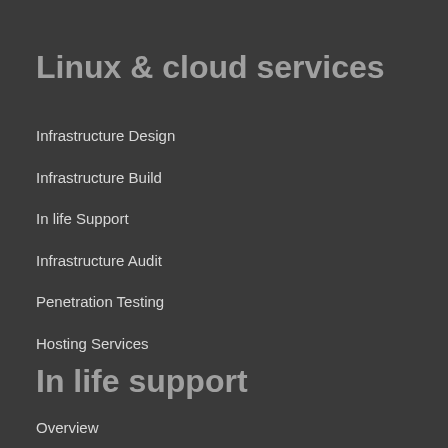Linux & cloud services
Infrastructure Design
Infrastructure Build
In life Support
Infrastructure Audit
Penetration Testing
Hosting Services
In life support
Overview